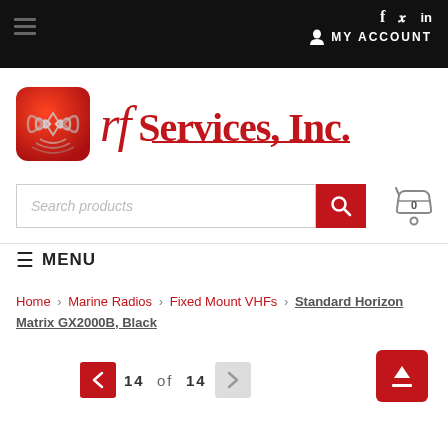f  t  in  MY ACCOUNT
[Figure (logo): RF Services, Inc. logo with red rounded square icon showing signal waves]
Search products
MENU
Home > Marine Radios > Fixed Mount VHFs > Standard Horizon Matrix GX2000B, Black
14 of 14